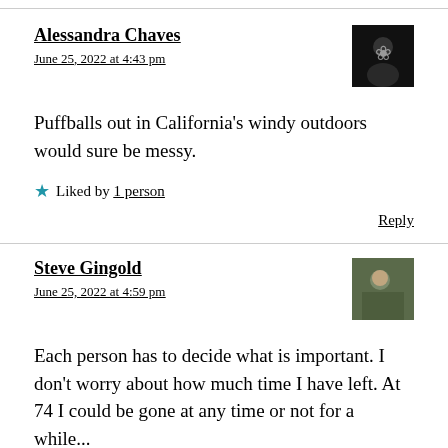Alessandra Chaves
June 25, 2022 at 4:43 pm
Puffballs out in California's windy outdoors would sure be messy.
Liked by 1 person
Reply
Steve Gingold
June 25, 2022 at 4:59 pm
Each person has to decide what is important. I don't worry about how much time I have left. At 74 I could be gone at any time or not for a while...